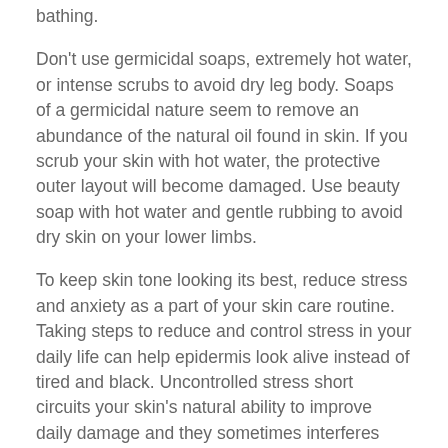bathing.
Don't use germicidal soaps, extremely hot water, or intense scrubs to avoid dry leg body. Soaps of a germicidal nature seem to remove an abundance of the natural oil found in skin. If you scrub your skin with hot water, the protective outer layout will become damaged. Use beauty soap with hot water and gentle rubbing to avoid dry skin on your lower limbs.
To keep skin tone looking its best, reduce stress and anxiety as a part of your skin care routine. Taking steps to reduce and control stress in your daily life can help epidermis look alive instead of tired and black. Uncontrolled stress short circuits your skin's natural ability to improve daily damage and they sometimes interferes with what you can to get the sleep